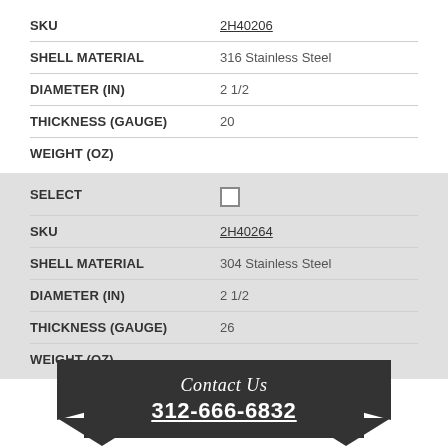| Field | Value |
| --- | --- |
| SKU | 2H40206 |
| SHELL MATERIAL | 316 Stainless Steel |
| DIAMETER (IN) | 2 1/2 |
| THICKNESS (GAUGE) | 20 |
| WEIGHT (OZ) |  |
| Field | Value |
| --- | --- |
| SELECT | ☐ |
| SKU | 2H40264 |
| SHELL MATERIAL | 304 Stainless Steel |
| DIAMETER (IN) | 2 1/2 |
| THICKNESS (GAUGE) | 26 |
| WEIGHT (OZ) |  |
[Figure (other): Contact Us banner with phone number 312-666-6832 on dark ribbon with arrow decorations]